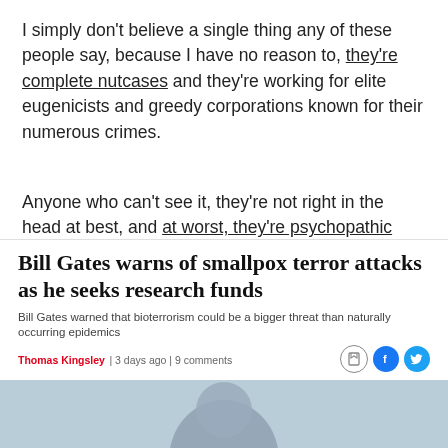I simply don't believe a single thing any of these people say, because I have no reason to, they're complete nutcases and they're working for elite eugenicists and greedy corporations known for their numerous crimes.
Anyone who can't see it, they're not right in the head at best, and at worst, they're psychopathic monsters, and it's like they're trying real hard to convince me that they are.
Bill Gates warns of smallpox terror attacks as he seeks research funds
Bill Gates warned that bioterrorism could be a bigger threat than naturally occurring epidemics
Thomas Kingsley | 3 days ago | 9 comments
[Figure (photo): Partial photo of a person, cropped at bottom of page]